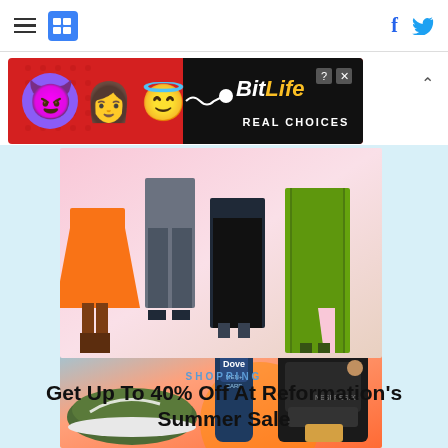HuffPost navigation with hamburger menu, logo, Facebook and Twitter icons
[Figure (screenshot): BitLife advertisement banner with emoji characters (devil, woman, angel), BitLife logo in yellow and white, 'REAL CHOICES' text on black background, on red background]
[Figure (photo): Fashion photo showing lower halves of women wearing various outfits: orange skirt with brown boots, jeans, black midi skirt, green maxi dress, on pink/peach gradient background]
SHOPPING
Get Up To 40% Off At Reformation's Summer Sale
[Figure (photo): Product collage showing olive green Nike sneakers, Dove Men+Care body wash bottle, and Nespresso Vertuo coffee machine on a sunset sky background]